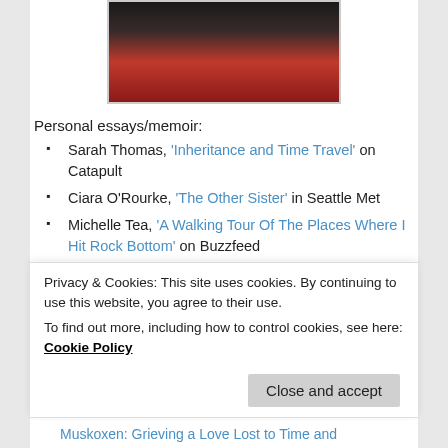[Figure (photo): Close-up photo of tattooed hands resting on a red surface, holding what appears to be a small book or card. The arms/hands are covered in tattoos.]
Personal essays/memoir:
Sarah Thomas, 'Inheritance and Time Travel' on Catapult
Ciara O'Rourke, 'The Other Sister' in Seattle Met
Michelle Tea, 'A Walking Tour Of The Places Where I Hit Rock Bottom' on Buzzfeed
Dianca Potts, 'Hallowed Hell House' on Lenny
Alyssa Martino, 'Vacancies' on Catapult
Privacy & Cookies: This site uses cookies. By continuing to use this website, you agree to their use. To find out more, including how to control cookies, see here: Cookie Policy
Muskoxen: Grieving a Love Lost to Time and